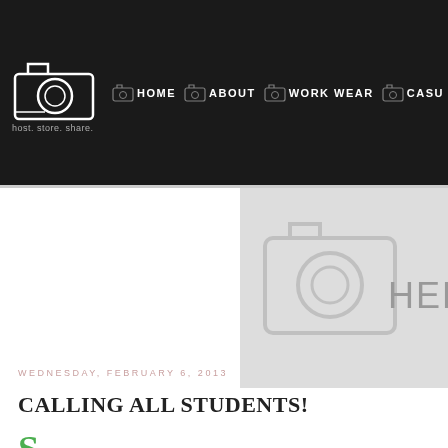HOME | ABOUT | WORK WEAR | CASU
[Figure (screenshot): Website screenshot showing navigation bar with logo (camera icon), tagline 'host. store. share.', nav links HOME, ABOUT, WORK WEAR, CASU (cut off), and a large hero image placeholder with camera icon and 'HEL' text visible]
WEDNESDAY, FEBRUARY 6, 2013
CALLING ALL STUDENTS!